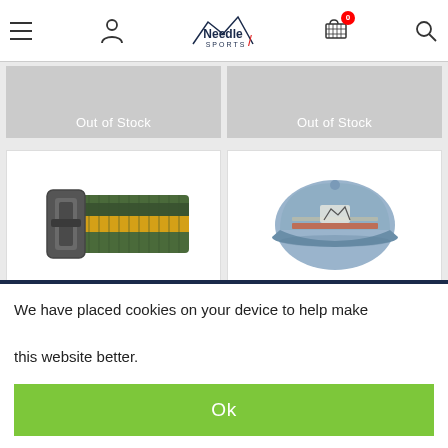Needle Sports navigation header with hamburger menu, user icon, logo, cart (0 items), and search icon
[Figure (screenshot): Two partially visible grey 'Out of Stock' product cards at the top]
[Figure (photo): Patagonia woven belt with green, yellow and grey stripes, three color swatches below (yellow-green, dark grey, black), product name 'Patagonia']
[Figure (photo): Patagonia light blue flat-brim cap with mountain logo and stripe, three color swatches below (blue, gold, dark navy), product name 'Patagonia']
We have placed cookies on your device to help make this website better.
Ok